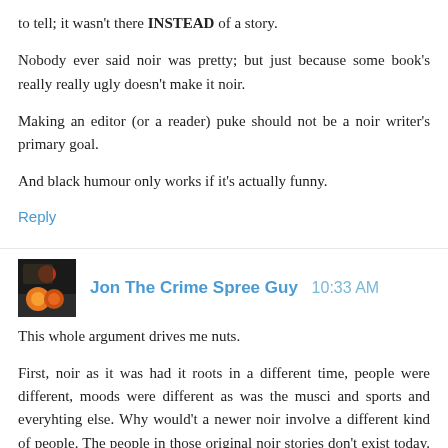to tell; it wasn't there INSTEAD of a story.
Nobody ever said noir was pretty; but just because some book's really really ugly doesn't make it noir.
Making an editor (or a reader) puke should not be a noir writer's primary goal.
And black humour only works if it's actually funny.
Reply
Jon The Crime Spree Guy 10:33 AM
This whole argument drives me nuts.
First, noir as it was had it roots in a different time, people were different, moods were different as was the musci and sports and everyhting else. Why would't a newer noir involve a different kind of people. The people in those original noir stories don't exist today. Music is more extreme, sporsts are more extreme and people are more